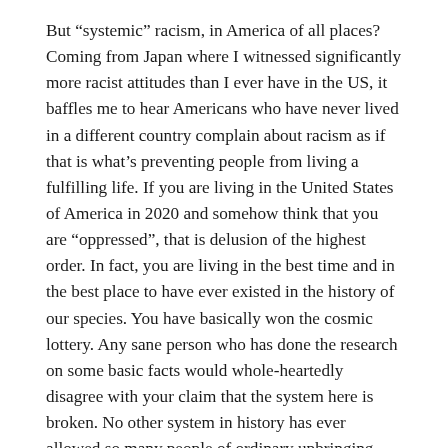But “systemic” racism, in America of all places? Coming from Japan where I witnessed significantly more racist attitudes than I ever have in the US, it baffles me to hear Americans who have never lived in a different country complain about racism as if that is what’s preventing people from living a fulfilling life. If you are living in the United States of America in 2020 and somehow think that you are “oppressed”, that is delusion of the highest order. In fact, you are living in the best time and in the best place to have ever existed in the history of our species. You have basically won the cosmic lottery. Any sane person who has done the research on some basic facts would whole-heartedly disagree with your claim that the system here is broken. No other system in history has ever allowed so many people of ordinary upbringing and of all races to make such great lives for themselves.